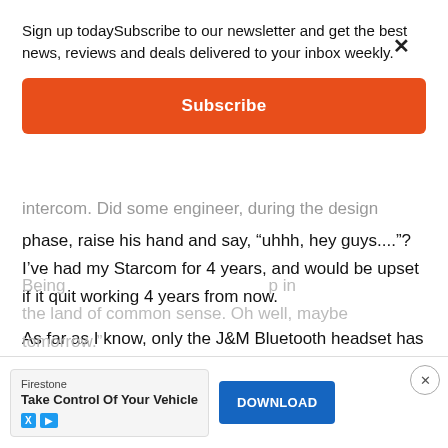Sign up todaySubscribe to our newsletter and get the best news, reviews and deals delivered to your inbox weekly.
[Figure (other): Orange Subscribe button for newsletter signup]
intercom. Did some engineer, during the design phase, raise his hand and say, “uhhh, hey guys....”?  I’ve had my Starcom for 4 years, and would be upset if it quit working 4 years from now.
As far as I know, only the J&M Bluetooth headset has a user-replaceable battery – but it won’t function as an intercom!  Uhhh, hey guys....isn’t that the whole idea?
Being ... p in the land of common sense. Oh well, maybe tomorrow.”
[Figure (other): Firestone ad banner: Take Control Of Your Vehicle with DOWNLOAD button]